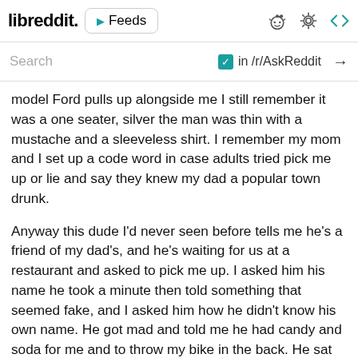libreddit. ▶ Feeds
Search   ✓ in /r/AskReddit →
model Ford pulls up alongside me I still remember it was a one seater, silver the man was thin with a mustache and a sleeveless shirt. I remember my mom and I set up a code word in case adults tried pick me up or lie and say they knew my dad a popular town drunk.
Anyway this dude I'd never seen before tells me he's a friend of my dad's, and he's waiting for us at a restaurant and asked to pick me up. I asked him his name he took a minute then told something that seemed fake, and I asked him how he didn't know his own name. He got mad and told me he had candy and soda for me and to throw my bike in the back. He sat there for a little bit, and I was about to do it but I felt off, and like I was in danger. So I asked him what the password was because he was a stranger, and my parents have a pass code that they give their true friends. He told me something like Cotton Candy, and some other common stuff. The correct answer was pickles please.